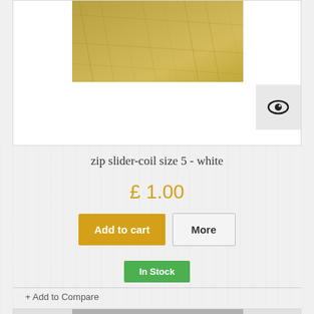[Figure (photo): Close-up photo of a golden-beige textured material (zip coil fabric), partially visible at the top of the page inside a product card]
zip slider-coil size 5 - white
£ 1.00
Add to cart
More
In Stock
+ Add to Compare
[Figure (photo): Partial view of another product card with a grey/silver textured material photo, cut off at the bottom of the page]